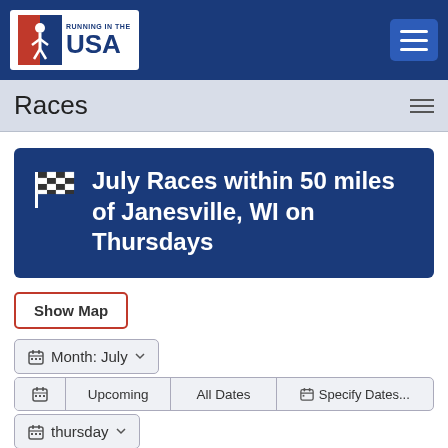Running in the USA — navigation header
Races
🏁 July Races within 50 miles of Janesville, WI on Thursdays
Show Map
Month: July
Upcoming | All Dates | Specify Dates...
thursday
Classic | Multisport | Variety | Event Category